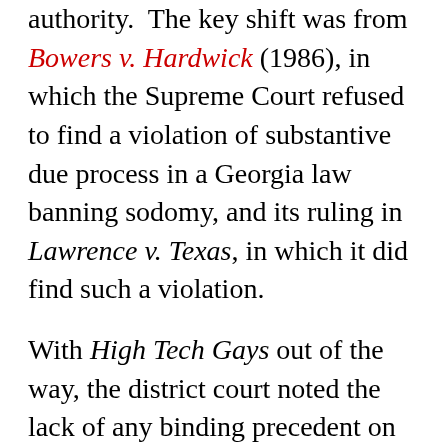authority.  The key shift was from Bowers v. Hardwick (1986), in which the Supreme Court refused to find a violation of substantive due process in a Georgia law banning sodomy, and its ruling in Lawrence v. Texas, in which it did find such a violation.
With High Tech Gays out of the way, the district court noted the lack of any binding precedent on the question of what the appropriate level of scrutiny was.  It thus applied the traditional test, and concluded that gay men and lesbians “have experienced a long history of discrimination”; that “sexual orientation has no relevance to a person’s ability to contribute to society”; that whether or not sexual orientation is immutable, it is “so fundamental